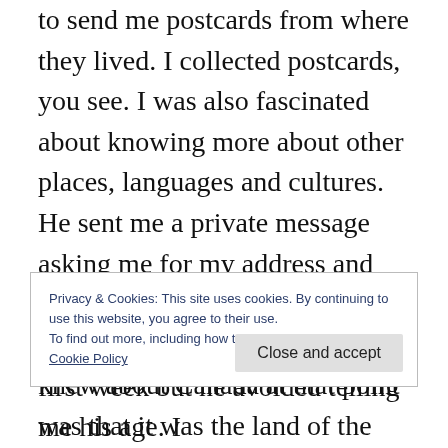to send me postcards from where they lived. I collected postcards, you see. I was also fascinated about knowing more about other places, languages and cultures. He sent me a private message asking me for my address and promised a postcard from Montreal, where he lived. All I knew about Canada at that point was that it was the land of the totem poles and grand British buildings (I had been to Victoria, BC, when I was 7 years old). I also had vague notions that some parts of the country spoke
Privacy & Cookies: This site uses cookies. By continuing to use this website, you agree to their use.
To find out more, including how to control cookies, see here:
Cookie Policy
first week but he avoided telling me his age. I